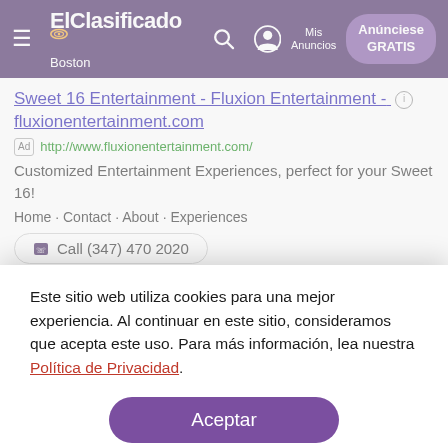ElClasificado Boston — Mis Anuncios — Anúnciese GRATIS
Sweet 16 Entertainment - Fluxion Entertainment - fluxionentertainment.com
Ad http://www.fluxionentertainment.com/
Customized Entertainment Experiences, perfect for your Sweet 16!
Home · Contact · About · Experiences
Call (347) 470 2020
Este sitio web utiliza cookies para una mejor experiencia. Al continuar en este sitio, consideramos que acepta este uso. Para más información, lea nuestra Política de Privacidad.
Aceptar